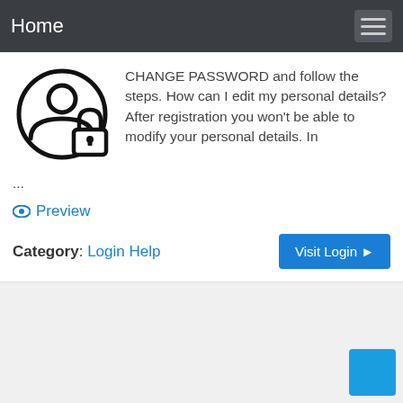Home
CHANGE PASSWORD and follow the steps. How can I edit my personal details? After registration you won't be able to modify your personal details. In ...
Preview
Category: Login Help
Visit Login